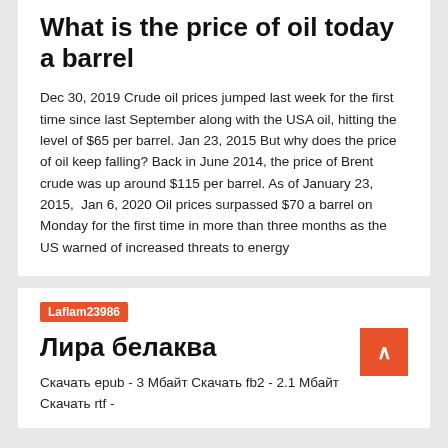What is the price of oil today a barrel
Dec 30, 2019 Crude oil prices jumped last week for the first time since last September along with the USA oil, hitting the level of $65 per barrel. Jan 23, 2015 But why does the price of oil keep falling? Back in June 2014, the price of Brent crude was up around $115 per barrel. As of January 23, 2015,  Jan 6, 2020 Oil prices surpassed $70 a barrel on Monday for the first time in more than three months as the US warned of increased threats to energy
Laflam23986
Лира белаква
Скачать epub - 3 Мбайт Скачать fb2 - 2.1 Мбайт Скачать rtf -